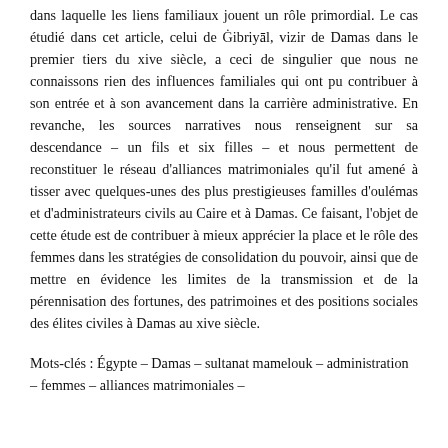dans laquelle les liens familiaux jouent un rôle primordial. Le cas étudié dans cet article, celui de Ġibriyāl, vizir de Damas dans le premier tiers du xive siècle, a ceci de singulier que nous ne connaissons rien des influences familiales qui ont pu contribuer à son entrée et à son avancement dans la carrière administrative. En revanche, les sources narratives nous renseignent sur sa descendance – un fils et six filles – et nous permettent de reconstituer le réseau d'alliances matrimoniales qu'il fut amené à tisser avec quelques-unes des plus prestigieuses familles d'oulémas et d'administrateurs civils au Caire et à Damas. Ce faisant, l'objet de cette étude est de contribuer à mieux apprécier la place et le rôle des femmes dans les stratégies de consolidation du pouvoir, ainsi que de mettre en évidence les limites de la transmission et de la pérennisation des fortunes, des patrimoines et des positions sociales des élites civiles à Damas au xive siècle.
Mots-clés : Égypte – Damas – sultanat mamelouk – administration – femmes – alliances matrimoniales –